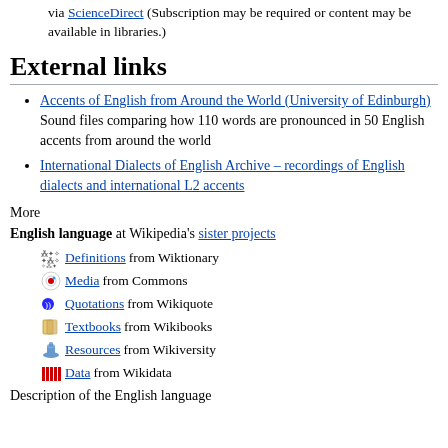via ScienceDirect (Subscription may be required or content may be available in libraries.)
External links
Accents of English from Around the World (University of Edinburgh) Sound files comparing how 110 words are pronounced in 50 English accents from around the world
International Dialects of English Archive – recordings of English dialects and international L2 accents
More
English language at Wikipedia's sister projects
Definitions from Wiktionary
Media from Commons
Quotations from Wikiquote
Textbooks from Wikibooks
Resources from Wikiversity
Data from Wikidata
Description of the English language